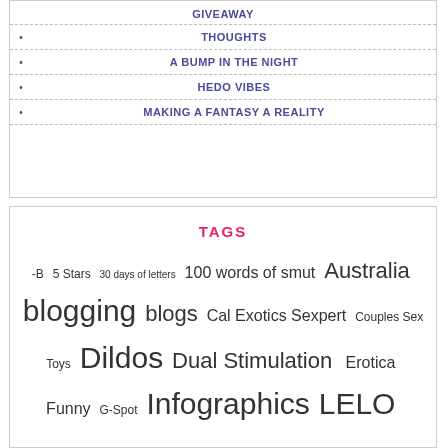GIVEAWAY
THOUGHTS
A BUMP IN THE NIGHT
HEDO VIBES
MAKING A FANTASY A REALITY
TAGS
-B  5 Stars  30 days of letters  100 words of smut  Australia  blogging  blogs  Cal Exotics Sexpert  Couples Sex Toys  Dildos  Dual Stimulation  Erotica  Funny  G-Spot  Infographics  LELO  me  Memes  men  Music  My Life  my sexual exploits  Online Sex Stores  other